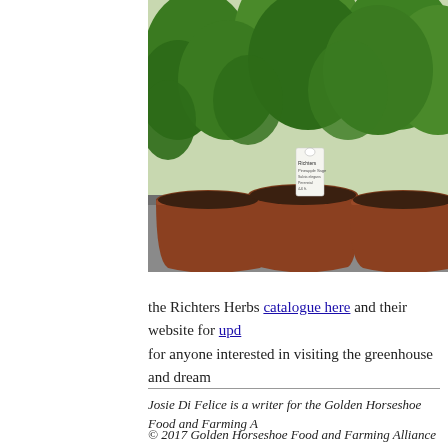[Figure (photo): Several herb plants in terracotta-colored plastic pots arranged in a dark tray, with green leafy plants and a white plant tag visible in the center pot, greenhouse setting]
the Richters Herbs catalogue here and their website for upd for anyone interested in visiting the greenhouse and dream
Josie Di Felice is a writer for the Golden Horseshoe Food and Farming A
© 2017 Golden Horseshoe Food and Farming Alliance (GHFFA). This ar